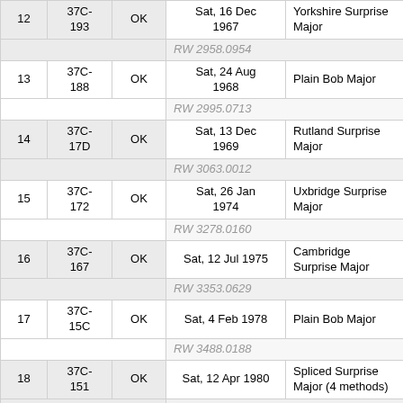| # | Ref | Status | Date | Method |
| --- | --- | --- | --- | --- |
| 12 | 37C-193 | OK | Sat, 16 Dec 1967 | Yorkshire Surprise Major |
|  |  |  | RW 2958.0954 |  |
| 13 | 37C-188 | OK | Sat, 24 Aug 1968 | Plain Bob Major |
|  |  |  | RW 2995.0713 |  |
| 14 | 37C-17D | OK | Sat, 13 Dec 1969 | Rutland Surprise Major |
|  |  |  | RW 3063.0012 |  |
| 15 | 37C-172 | OK | Sat, 26 Jan 1974 | Uxbridge Surprise Major |
|  |  |  | RW 3278.0160 |  |
| 16 | 37C-167 | OK | Sat, 12 Jul 1975 | Cambridge Surprise Major |
|  |  |  | RW 3353.0629 |  |
| 17 | 37C-15C | OK | Sat, 4 Feb 1978 | Plain Bob Major |
|  |  |  | RW 3488.0188 |  |
| 18 | 37C-151 | OK | Sat, 12 Apr 1980 | Spliced Surprise Major (4 methods) |
|  |  |  | RW 3605.0467 |  |
| 19 | 37C- | OK | Sat, 16 Jan 1982 | Spliced Surprise Major (8 methods) |